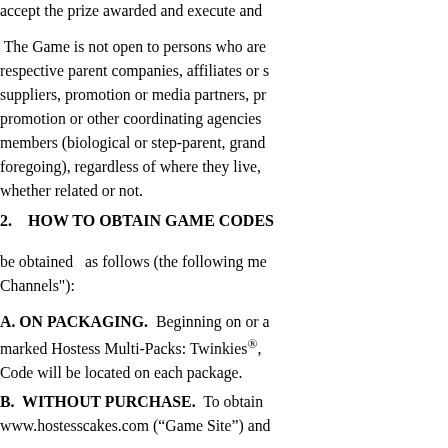accept the prize awarded and execute and
The Game is not open to persons who are respective parent companies, affiliates or s suppliers, promotion or media partners, pr promotion or other coordinating agencies members (biological or step-parent, grand foregoing), regardless of where they live, whether related or not.
2.   HOW TO OBTAIN GAME CODES
be obtained   as follows (the following me Channels"):
A. ON PACKAGING.  Beginning on or a marked Hostess Multi-Packs: Twinkies®, Code will be located on each package.
B.  WITHOUT PURCHASE.  To obtain www.hostesscakes.com (“Game Site”) and